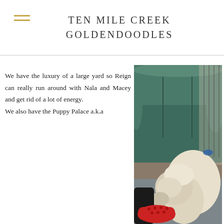TEN MILE CREEK GOLDENDOODLES
[Figure (photo): A fluffy light-colored goldendoodle dog sniffing or licking a person's red Croc shoe, with a teal/green couch in the background and a dog kennel/pen visible in the rear right. The person is wearing black pants.]
We have the luxury of a large yard so Reign can really run around with Nala and Macey and get rid of a lot of energy. We also have the Puppy Palace a.k.a